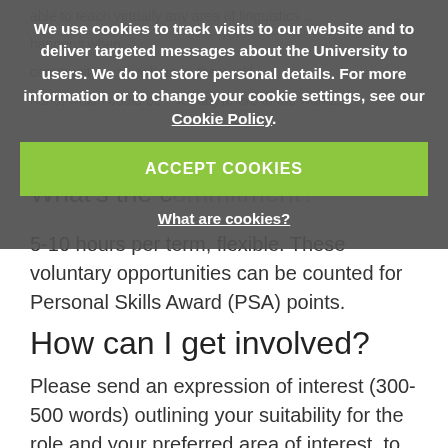5-10 hours per term, flexible. These voluntary opportunities can be counted for Personal Skills Award (PSA) points.
How can I get involved?
Please send an expression of interest (300-500 words) outlining your suitability for the role and your preferred area of interest, to Caroline Hetherington, c.a.hetherington@bham.ac.uk.